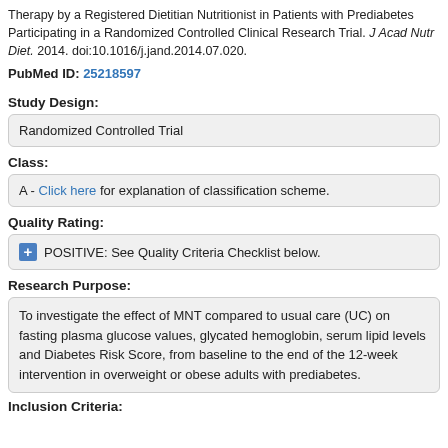Therapy by a Registered Dietitian Nutritionist in Patients with Prediabetes Participating in a Randomized Controlled Clinical Research Trial. J Acad Nutr Diet. 2014. doi:10.1016/j.jand.2014.07.020.
PubMed ID: 25218597
Study Design:
Randomized Controlled Trial
Class:
A - Click here for explanation of classification scheme.
Quality Rating:
+ POSITIVE: See Quality Criteria Checklist below.
Research Purpose:
To investigate the effect of MNT compared to usual care (UC) on fasting plasma glucose values, glycated hemoglobin, serum lipid levels and Diabetes Risk Score, from baseline to the end of the 12-week intervention in overweight or obese adults with prediabetes.
Inclusion Criteria: